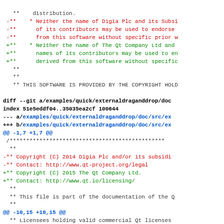diff output showing git changes to Qt copyright notices in externaldraganddrop documentation source files
** distribution.
-**    * Neither the name of Digia Plc and its Subsi...
-**      of its contributors may be used to endorse...
-**      from this software without specific prior w...
+**    * Neither the name of The Qt Company Ltd and...
+**      names of its contributors may be used to en...
+**      derived from this software without specific...
 **
 **
 ** THIS SOFTWARE IS PROVIDED BY THE COPYRIGHT HOLD...
diff --git a/examples/quick/externaldraganddrop/doc...
index 51e5eddf04..35035ea2cf 100644
--- a/examples/quick/externaldraganddrop/doc/src/ex...
+++ b/examples/quick/externaldraganddrop/doc/src/ex...
@@ -1,7 +1,7 @@
 /***********************************************...
 **
-** Copyright (C) 2014 Digia Plc and/or its subsidi...
-** Contact: http://www.qt-project.org/legal
+** Copyright (C) 2015 The Qt Company Ltd.
+** Contact: http://www.qt.io/licensing/
 **
 ** This file is part of the documentation of the Q...
 **
@@ -10,15 +10,15 @@
 ** Licensees holding valid commercial Qt licenses...
 ** accordance with the commercial license agreemen...
 ** Software or, alternatively, in accordance with...
-** a written agreement between you and Digia. Fo...